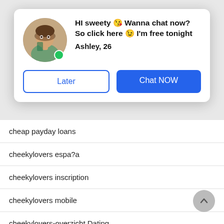[Figure (photo): Circular avatar photo of a young woman taking a selfie, with a green online indicator dot]
HI sweety 😘 Wanna chat now? So click here 😉 I'm free tonight
Ashley, 26
Later
Chat NOW
cheap payday loans
cheekylovers espa?a
cheekylovers inscription
cheekylovers mobile
cheekylovers-overzicht Dating
cheekylovers-recenze MobilnÍ strÍnka
chemistry dating